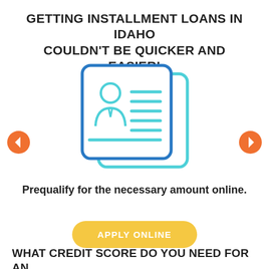GETTING INSTALLMENT LOANS IN IDAHO COULDN'T BE QUICKER AND EASIER!
[Figure (illustration): Icon of two overlapping document cards with a person/ID illustration on the front card and horizontal lines representing text fields, rendered in teal/cyan outline style]
Prequalify for the necessary amount online.
APPLY ONLINE
WHAT CREDIT SCORE DO YOU NEED FOR AN INSTALLMENT LOAN?